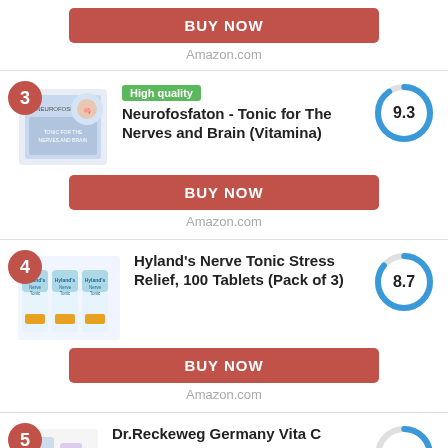[Figure (other): BUY NOW button and Amazon.com label at top of page]
3 - High quality - Neurofosfaton - Tonic for The Nerves and Brain (Vitamina) - Score: 9.3 - BUY NOW - Amazon.com
4 - Hyland's Nerve Tonic Stress Relief, 100 Tablets (Pack of 3) - Score: 8.7 - BUY NOW - Amazon.com
5 - Dr.Reckeweg Germany Vita C (partial)